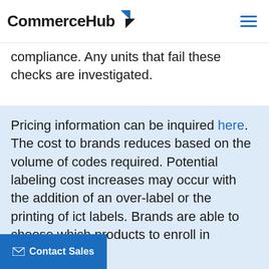CommerceHub
compliance. Any units that fail these checks are investigated.
Pricing information can be inquired here. The cost to brands reduces based on the volume of codes required. Potential labeling cost increases may occur with the addition of an over-label or the printing of ict labels. Brands are able to choose which products to enroll in